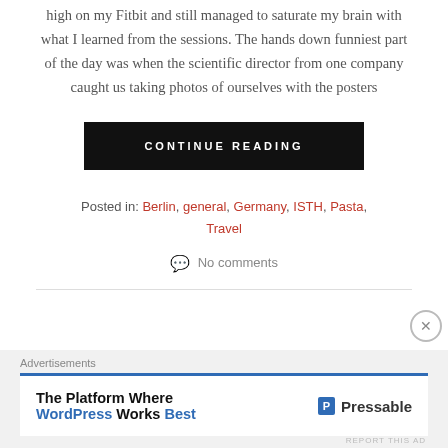high on my Fitbit and still managed to saturate my brain with what I learned from the sessions. The hands down funniest part of the day was when the scientific director from one company caught us taking photos of ourselves with the posters
CONTINUE READING
Posted in: Berlin, general, Germany, ISTH, Pasta, Travel
No comments
Advertisements
The Platform Where WordPress Works Best — Pressable